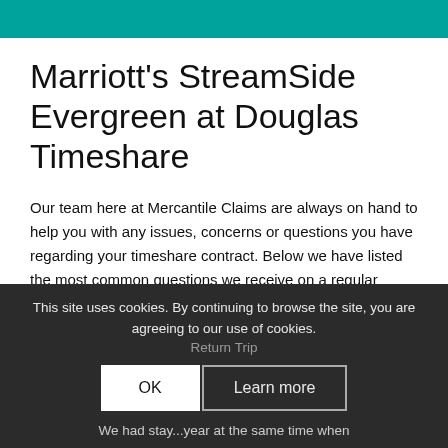Marriott's StreamSide Evergreen at Douglas Timeshare
Our team here at Mercantile Claims are always on hand to help you with any issues, concerns or questions you have regarding your timeshare contract. Below we have listed the most common questions we receive on a regular basis. If you have a more specific question please contact our team of experts and we will respond with an answer as soon as possible.
This site uses cookies. By continuing to browse the site, you are agreeing to our use of cookies.
Return Trip
We had stay...year at the same time when